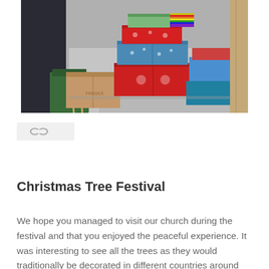[Figure (photo): Photo of stacked gift-wrapped Christmas shoeboxes and cardboard boxes in a church or warehouse setting. Boxes are wrapped in colorful Christmas paper – red, green, blue with patterns. A green bin and a person partially visible on the left side.]
[Figure (other): Share/link icon button – small grey rounded rectangle with a chain-link or share icon]
Christmas Tree Festival
We hope you managed to visit our church during the festival and that you enjoyed the peaceful experience. It was interesting to see all the trees as they would traditionally be decorated in different countries around